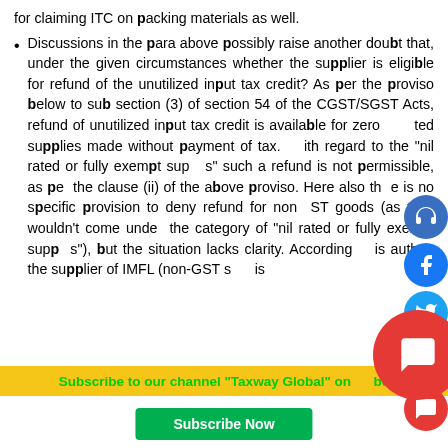for claiming ITC on packing materials as well.
Discussions in the para above possibly raise another doubt that, under the given circumstances whether the supplier is eligible for refund of the unutilized input tax credit? As per the proviso below to sub section (3) of section 54 of the CGST/SGST Acts, refund of unutilized input tax credit is available for zero rated supplies made without payment of tax. With regard to the "nil rated or fully exempt supplies" such a refund is not permissible, as per the clause (ii) of the above proviso. Here also there is no specific provision to deny refund for non-GST goods (as they wouldn't come under the category of "nil rated or fully exempt supplies"), but the situation lacks clarity. According to this author, the supplier of IMFL (non-GST s... is
Subscribe to our channel "Taxway Global" on... be
Subscribe Now